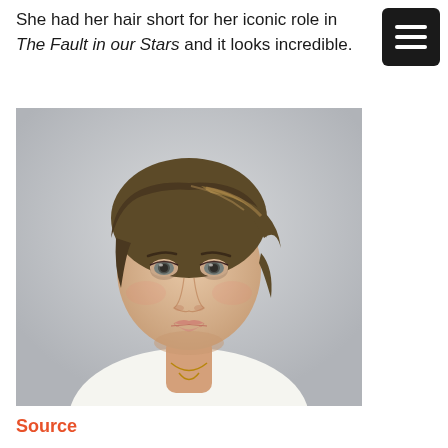She had her hair short for her iconic role in The Fault in our Stars and it looks incredible.
[Figure (photo): Portrait photo of a young woman with short brown hair with blonde highlights, wearing a white top and necklace, against a light gray background.]
Source